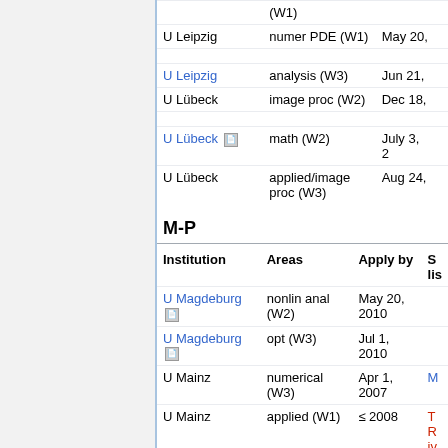| Institution | Areas | Apply by | S li |
| --- | --- | --- | --- |
| U Leipzig | numer PDE (W1) | May 20, |  |
| U Leipzig | analysis (W3) | Jun 21, |  |
| U Lübeck | image proc (W2) | Dec 18, |  |
| U Lübeck [doc] | math (W2) | July 3, 2 |  |
| U Lübeck | applied/image proc (W3) | Aug 24, |  |
M-P
| Institution | Areas | Apply by | S lis |
| --- | --- | --- | --- |
| U Magdeburg [doc] | nonlin anal (W2) | May 20, 2010 |  |
| U Magdeburg [doc] | opt (W3) | Jul 1, 2010 |  |
| U Mainz | numerical (W3) | Apr 1, 2007 | M |
| U Mainz | applied (W1) | ≤ 2008 | T R iv |